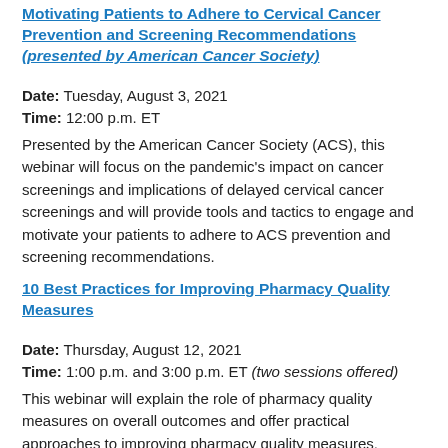Motivating Patients to Adhere to Cervical Cancer Prevention and Screening Recommendations (presented by American Cancer Society)
Date: Tuesday, August 3, 2021
Time: 12:00 p.m. ET
Presented by the American Cancer Society (ACS), this webinar will focus on the pandemic's impact on cancer screenings and implications of delayed cervical cancer screenings and will provide tools and tactics to engage and motivate your patients to adhere to ACS prevention and screening recommendations.
10 Best Practices for Improving Pharmacy Quality Measures
Date: Thursday, August 12, 2021
Time: 1:00 p.m. and 3:00 p.m. ET (two sessions offered)
This webinar will explain the role of pharmacy quality measures on overall outcomes and offer practical approaches to improving pharmacy quality measures.
6 Ways to Improve Risk Adjustment Documentation Accuracy